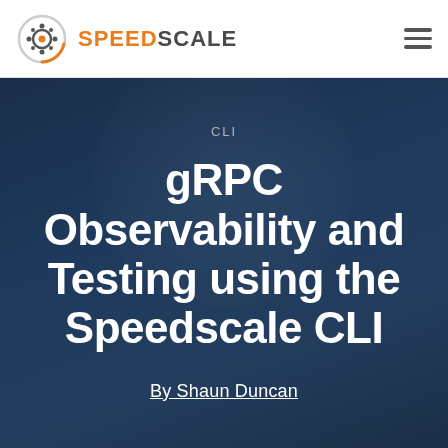SPEEDSCALE
CLI
gRPC Observability and Testing using the Speedscale CLI
By Shaun Duncan